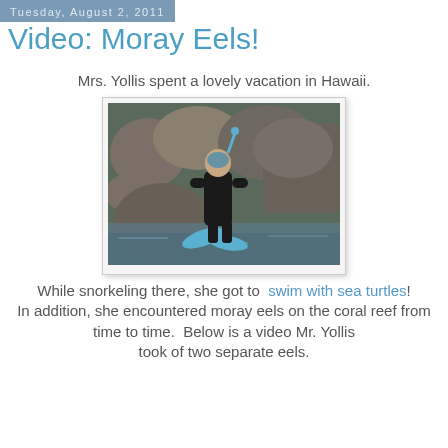Tuesday, August 2, 2011
Video: Moray Eels!
Mrs. Yollis spent a lovely vacation in Hawaii.
[Figure (photo): Person in wetsuit with snorkel gear and blue swim fins, standing among rocks near water in Hawaii]
While snorkeling there, she got to swim with sea turtles! In addition, she encountered moray eels on the coral reef from time to time. Below is a video Mr. Yollis took of two separate eels.